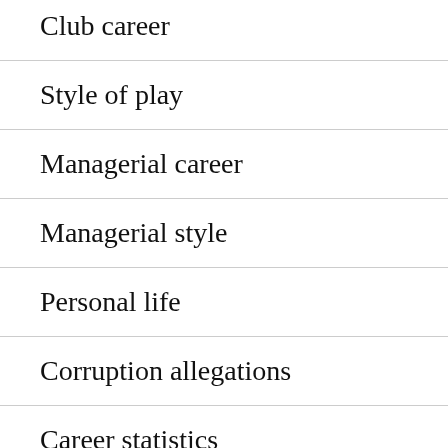Club career
Style of play
Managerial career
Managerial style
Personal life
Corruption allegations
Career statistics